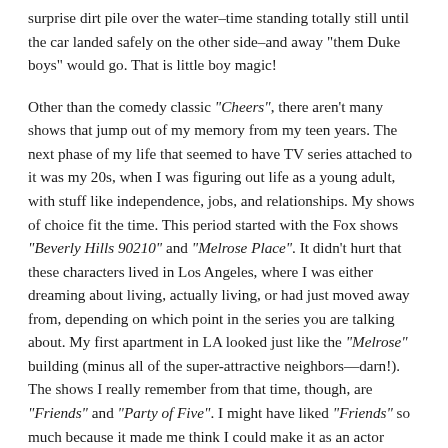surprise dirt pile over the water–time standing totally still until the car landed safely on the other side–and away "them Duke boys" would go. That is little boy magic!
Other than the comedy classic "Cheers", there aren't many shows that jump out of my memory from my teen years. The next phase of my life that seemed to have TV series attached to it was my 20s, when I was figuring out life as a young adult, with stuff like independence, jobs, and relationships. My shows of choice fit the time. This period started with the Fox shows "Beverly Hills 90210" and "Melrose Place". It didn't hurt that these characters lived in Los Angeles, where I was either dreaming about living, actually living, or had just moved away from, depending on which point in the series you are talking about. My first apartment in LA looked just like the "Melrose" building (minus all of the super-attractive neighbors—darn!). The shows I really remember from that time, though, are "Friends" and "Party of Five". I might have liked "Friends" so much because it made me think I could make it as an actor